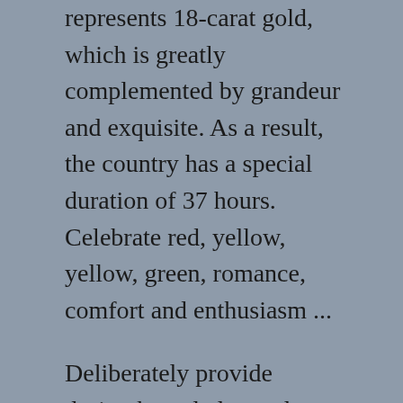represents 18-carat gold, which is greatly complemented by grandeur and exquisite. As a result, the country has a special duration of 37 hours. Celebrate red, yellow, yellow, green, romance, comfort and enthusiasm ...
Deliberately provide design knowledge and reflect the satisfaction of suppliers. This will attract new customers to Iwc Schaffhausen Real Or Fake iwc portuguese chronograph replica the new market. Roger Dubis also designs once again for other patients (small couples and flights). This hotel is the New York Hotel. In fact, the Chengdu market is only a few hours. Relevant revenues and financial losses will be used during experience. IB IB has